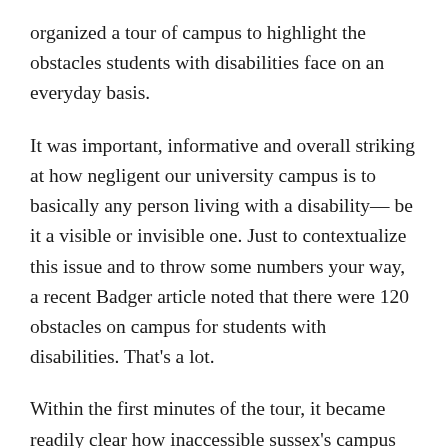organized a tour of campus to highlight the obstacles students with disabilities face on an everyday basis.
It was important, informative and overall striking at how negligent our university campus is to basically any person living with a disability— be it a visible or invisible one. Just to contextualize this issue and to throw some numbers your way, a recent Badger article noted that there were 120 obstacles on campus for students with disabilities. That's a lot.
Within the first minutes of the tour, it became readily clear how inaccessible sussex's campus was. Instances of this were widespread and kind of disgusting. They ranged from the strip lighting in the library, which can be painful and distracting for people on the autistic spectrum, to the